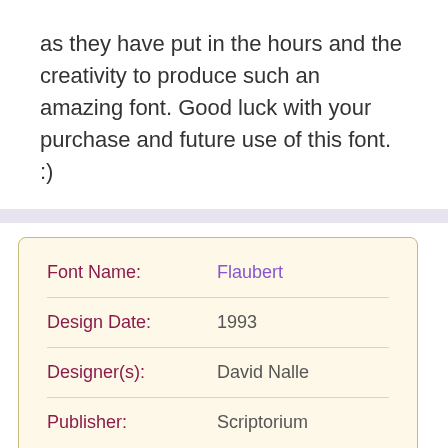as they have put in the hours and the creativity to produce such an amazing font. Good luck with your purchase and future use of this font. :)
| Field | Value |
| --- | --- |
| Font Name: | Flaubert |
| Design Date: | 1993 |
| Designer(s): | David Nalle |
| Publisher: | Scriptorium |